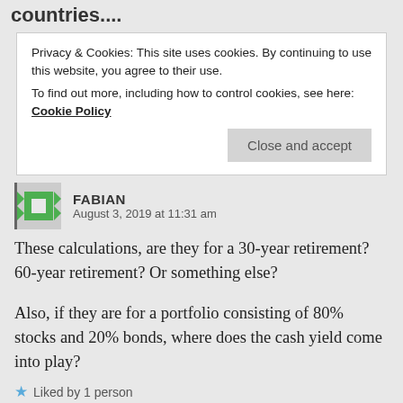countries....
Privacy & Cookies: This site uses cookies. By continuing to use this website, you agree to their use.
To find out more, including how to control cookies, see here: Cookie Policy
Close and accept
FABIAN
August 3, 2019 at 11:31 am
These calculations, are they for a 30-year retirement? 60-year retirement? Or something else?
Also, if they are for a portfolio consisting of 80% stocks and 20% bonds, where does the cash yield come into play?
Liked by 1 person
Reply